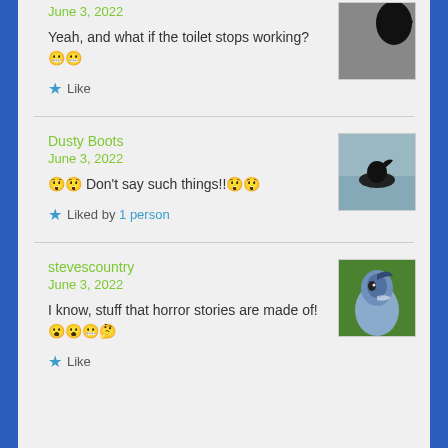June 3, 2022
Yeah, and what if the toilet stops working? 😬😬
Like
Dusty Boots
June 3, 2022
😲😲 Don't say such things!!😲😲
Liked by 1 person
stevescountry
June 3, 2022
I know, stuff that horror stories are made of!😮😮😬🤔